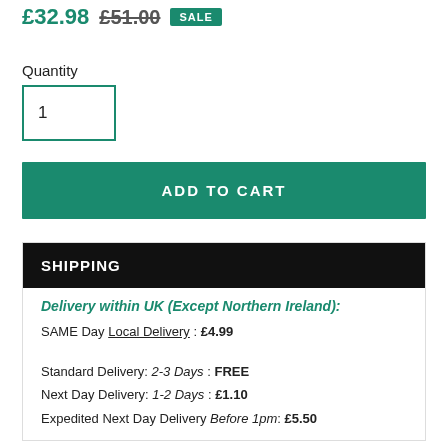£32.98  £51.00  SALE
Quantity
1
ADD TO CART
SHIPPING
Delivery within UK (Except Northern Ireland):
SAME Day Local Delivery : £4.99
Standard Delivery: 2-3 Days : FREE
Next Day Delivery: 1-2 Days : £1.10
Expedited Next Day Delivery Before 1pm: £5.50